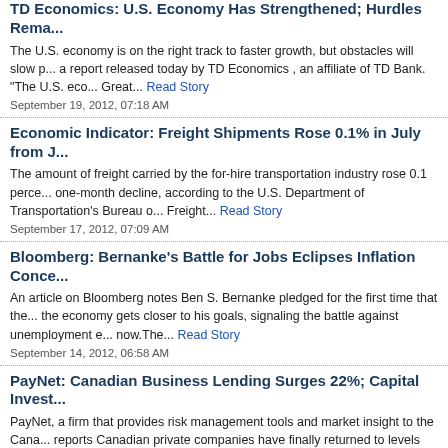TD Economics: U.S. Economy Has Strengthened; Hurdles Rema...
The U.S. economy is on the right track to faster growth, but obstacles will slow p... a report released today by TD Economics , an affiliate of TD Bank. "The U.S. eco... Great... Read Story
September 19, 2012, 07:18 AM
Economic Indicator: Freight Shipments Rose 0.1% in July from J...
The amount of freight carried by the for-hire transportation industry rose 0.1 perce... one-month decline, according to the U.S. Department of Transportation's Bureau o... Freight... Read Story
September 17, 2012, 07:09 AM
Bloomberg: Bernanke's Battle for Jobs Eclipses Inflation Conce...
An article on Bloomberg notes Ben S. Bernanke pledged for the first time that the... the economy gets closer to his goals, signaling the battle against unemployment e... now.The... Read Story
September 14, 2012, 06:58 AM
PayNet: Canadian Business Lending Surges 22%; Capital Invest...
PayNet, a firm that provides risk management tools and market insight to the Cana... reports Canadian private companies have finally returned to levels last achieved in... Canadian... Read Story
September 12, 2012, 07:07 AM